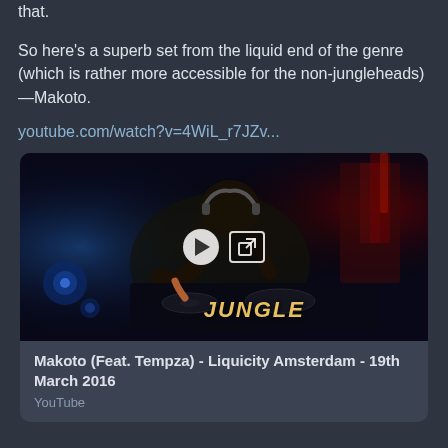that.
So here's a superb set from the liquid end of the genre (which is rather more accessible for the non-jungleheads)—Makoto.
youtube.com/watch?v=4WiL_r7JZv...
[Figure (screenshot): YouTube video thumbnail showing a DJ performing at a nightclub with red/blue lighting. DJ is wearing headphones. Play button and external link icon visible in center. Text 'JUNGLE' visible on equipment.]
Makoto (Feat. Tempza) - Liquicity Amsterdam - 19th March 2016
YouTube